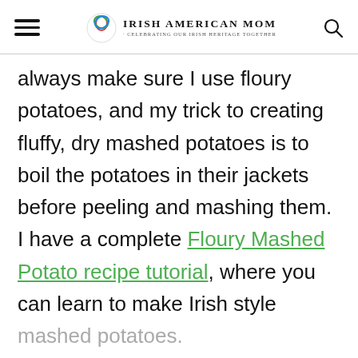Irish American Mom - Celebrating Our Irish Heritage Together
always make sure I use floury potatoes, and my trick to creating fluffy, dry mashed potatoes is to boil the potatoes in their jackets before peeling and mashing them. I have a complete Floury Mashed Potato recipe tutorial, where you can learn to make Irish style mashed potatoes.